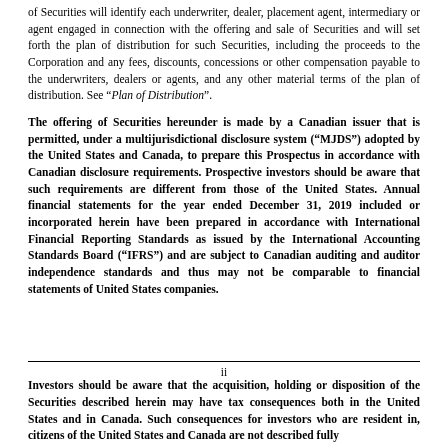of Securities will identify each underwriter, dealer, placement agent, intermediary or agent engaged in connection with the offering and sale of Securities and will set forth the plan of distribution for such Securities, including the proceeds to the Corporation and any fees, discounts, concessions or other compensation payable to the underwriters, dealers or agents, and any other material terms of the plan of distribution. See “Plan of Distribution”.
The offering of Securities hereunder is made by a Canadian issuer that is permitted, under a multijurisdictional disclosure system (“MJDS”) adopted by the United States and Canada, to prepare this Prospectus in accordance with Canadian disclosure requirements. Prospective investors should be aware that such requirements are different from those of the United States. Annual financial statements for the year ended December 31, 2019 included or incorporated herein have been prepared in accordance with International Financial Reporting Standards as issued by the International Accounting Standards Board (“IFRS”) and are subject to Canadian auditing and auditor independence standards and thus may not be comparable to financial statements of United States companies.
ii
Investors should be aware that the acquisition, holding or disposition of the Securities described herein may have tax consequences both in the United States and in Canada. Such consequences for investors who are resident in, citizens of the United States and Canada are not described fully